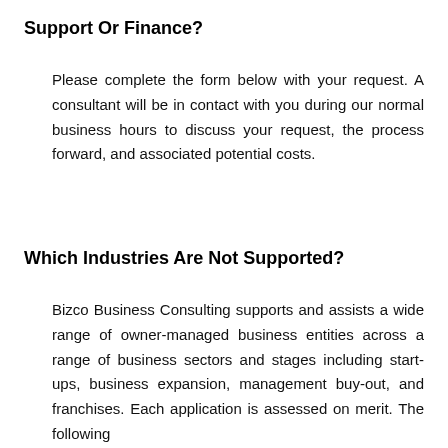Support Or Finance?
Please complete the form below with your request. A consultant will be in contact with you during our normal business hours to discuss your request, the process forward, and associated potential costs.
Which Industries Are Not Supported?
Bizco Business Consulting supports and assists a wide range of owner-managed business entities across a range of business sectors and stages including start-ups, business expansion, management buy-out, and franchises. Each application is assessed on merit. The following